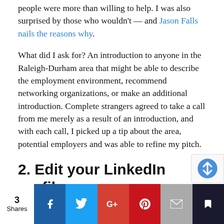people were more than willing to help. I was also surprised by those who wouldn't — and Jason Falls nails the reasons why.
What did I ask for? An introduction to anyone in the Raleigh-Durham area that might be able to describe the employment environment, recommend networking organizations, or make an additional introduction. Complete strangers agreed to take a call from me merely as a result of an introduction, and with each call, I picked up a tip about the area, potential employers and was able to refine my pitch.
2. Edit your LinkedIn profile